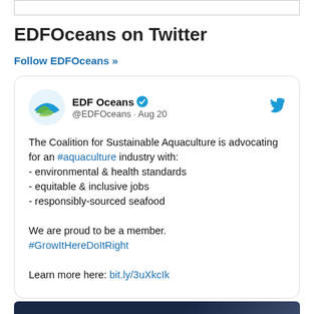EDFOceans on Twitter
Follow EDFOceans »
[Figure (screenshot): Embedded tweet from @EDFOceans dated Aug 20, featuring EDF Oceans logo, verified badge, Twitter bird icon. Tweet text: 'The Coalition for Sustainable Aquaculture is advocating for an #aquaculture industry with: - environmental & health standards - equitable & inclusive jobs - responsibly-sourced seafood We are proud to be a member. #GrowItHereDoItRight Learn more here: bit.ly/3uXkcIk']
[Figure (photo): Partial image at bottom showing dark navy blue background with a lighter diagonal shape, appears to be a banner or graphic.]